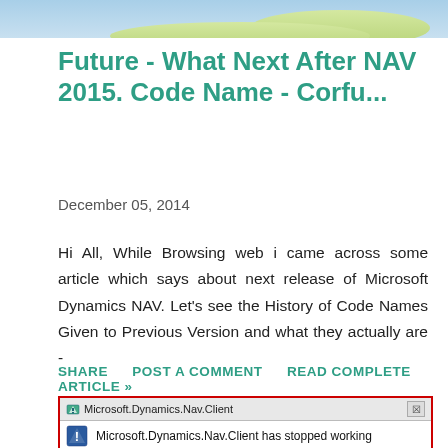[Figure (screenshot): Top portion of a map image showing coastline with label 'Pozzallo']
Future - What Next After NAV 2015. Code Name - Corfu...
December 05, 2014
Hi All, While Browsing web i came across some article which says about next release of Microsoft Dynamics NAV. Let's see the History of Code Names Given to Previous Version and what they actually are -
SHARE   POST A COMMENT   READ COMPLETE ARTICLE »
[Figure (screenshot): Windows dialog box: Microsoft.Dynamics.Nav.Client has stopped working]